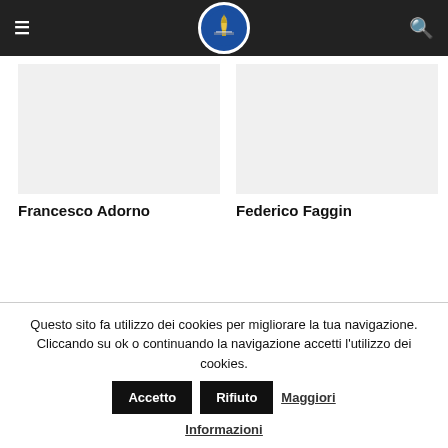Navigation bar with hamburger menu, logo, and search icon
Francesco Adorno
Federico Faggin
Questo sito fa utilizzo dei cookies per migliorare la tua navigazione. Cliccando su ok o continuando la navigazione accetti l'utilizzo dei cookies. Accetto Rifiuto Maggiori Informazioni